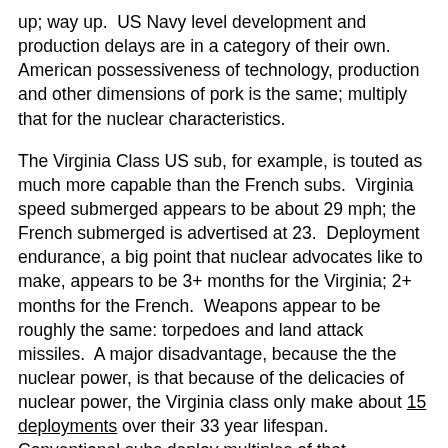up; way up.  US Navy level development and production delays are in a category of their own.  American possessiveness of technology, production and other dimensions of pork is the same; multiply that for the nuclear characteristics.
The Virginia Class US sub, for example, is touted as much more capable than the French subs.  Virginia speed submerged appears to be about 29 mph; the French submerged is advertised at 23.  Deployment endurance, a big point that nuclear advocates like to make, appears to be 3+ months for the Virginia; 2+ months for the French.  Weapons appear to be roughly the same: torpedoes and land attack missiles.  A major disadvantage, because the the nuclear power, is that because of the delicacies of nuclear power, the Virginia class only make about 15 deployments over their 33 year lifespan.  Conventional subs deploy multiples of that.  Moreover, in buying 3-4 versus 12 French submarines the Australian are buying the naval equivalent of a few hangar queens for roughly 4-6 French subs at sea at any one time — at more cost for the nucs.  When on battery, the French subs are also very likely to be significantly quieter